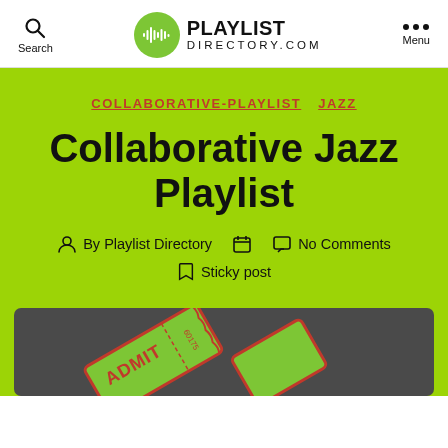PLAYLIST DIRECTORY.COM
COLLABORATIVE-PLAYLIST  JAZZ
Collaborative Jazz Playlist
By Playlist Directory   No Comments   Sticky post
[Figure (photo): A green admit-one ticket displayed inside a dark-framed box, partially visible at the bottom of the page.]